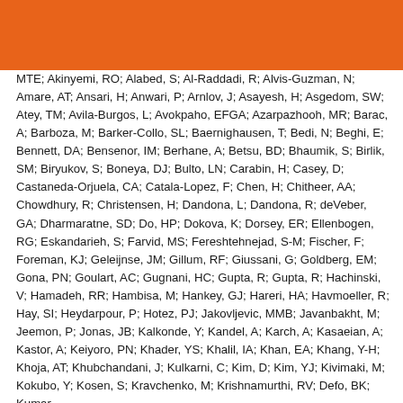[Figure (other): Orange decorative header bar]
MTE; Akinyemi, RO; Alabed, S; Al-Raddadi, R; Alvis-Guzman, N; Amare, AT; Ansari, H; Anwari, P; Arnlov, J; Asayesh, H; Asgedom, SW; Atey, TM; Avila-Burgos, L; Avokpaho, EFGA; Azarpazhooh, MR; Barac, A; Barboza, M; Barker-Collo, SL; Baernighausen, T; Bedi, N; Beghi, E; Bennett, DA; Bensenor, IM; Berhane, A; Betsu, BD; Bhaumik, S; Birlik, SM; Biryukov, S; Boneya, DJ; Bulto, LN; Carabin, H; Casey, D; Castaneda-Orjuela, CA; Catala-Lopez, F; Chen, H; Chitheer, AA; Chowdhury, R; Christensen, H; Dandona, L; Dandona, R; deVeber, GA; Dharmaratne, SD; Do, HP; Dokova, K; Dorsey, ER; Ellenbogen, RG; Eskandarieh, S; Farvid, MS; Fereshtehnejad, S-M; Fischer, F; Foreman, KJ; Geleijnse, JM; Gillum, RF; Giussani, G; Goldberg, EM; Gona, PN; Goulart, AC; Gugnani, HC; Gupta, R; Gupta, R; Hachinski, V; Hamadeh, RR; Hambisa, M; Hankey, GJ; Hareri, HA; Havmoeller, R; Hay, SI; Heydarpour, P; Hotez, PJ; Jakovljevic, MMB; Javanbakht, M; Jeemon, P; Jonas, JB; Kalkonde, Y; Kandel, A; Karch, A; Kasaeian, A; Kastor, A; Keiyoro, PN; Khader, YS; Khalil, IA; Khan, EA; Khang, Y-H; Khoja, AT; Khubchandani, J; Kulkarni, C; Kim, D; Kim, YJ; Kivimaki, M; Kokubo, Y; Kosen, S; Kravchenko, M; Krishnamurthi, RV; Defo, BK; Kumar,